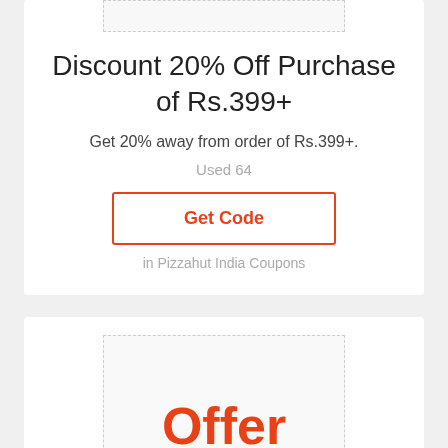[Figure (other): Dashed border image placeholder at top of first card]
Discount 20% Off Purchase of Rs.399+
Get 20% away from order of Rs.399+.
Used 64
Get Code
in Pizzahut India Coupons
[Figure (other): Offer badge with dashed border showing large red 'Offer' text]
Code
Pay The Price of Medium Pizza For